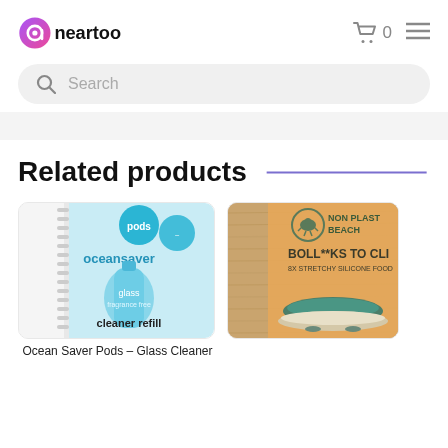neartoo
Search
Related products
[Figure (photo): OceanSaver Pods glass cleaner refill product packaging with teal/blue design]
Ocean Saver Pods – Glass Cleaner
[Figure (photo): Non Plastic Beach BOLL**KS TO CLI... 8x stretchy silicone food cover product on wooden background]